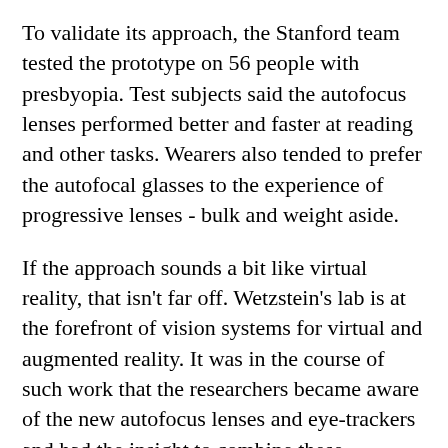To validate its approach, the Stanford team tested the prototype on 56 people with presbyopia. Test subjects said the autofocus lenses performed better and faster at reading and other tasks. Wearers also tended to prefer the autofocal glasses to the experience of progressive lenses - bulk and weight aside.
If the approach sounds a bit like virtual reality, that isn't far off. Wetzstein's lab is at the forefront of vision systems for virtual and augmented reality. It was in the course of such work that the researchers became aware of the new autofocus lenses and eye-trackers and had the insight to combine these elements to create a potentially transformative product.
The next step will be to downsize the technology. Wetzstein thinks it may take a few years to develop autofocal glasses that are lightweight, energy efficient and stylish. But he is